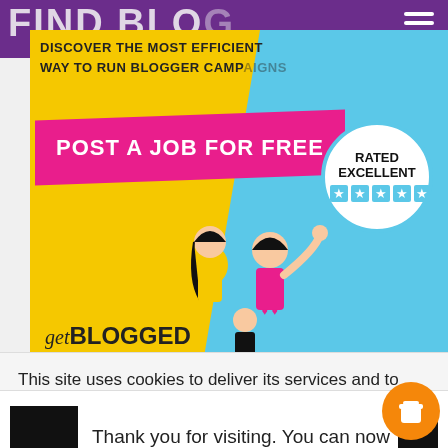FIND BLO...
[Figure (illustration): GetBlogged banner ad: yellow and blue background with 'DISCOVER THE MOST EFFICIENT WAY TO RUN BLOGGER CAMPAIGNS' text, pink 'POST A JOB FOR FREE' button, illustrated characters, 'RATED EXCELLENT' badge with stars, and getBLOGGED logo]
This site uses cookies to deliver its services and to analyse traffic. By using this site, you agree to its use of cookies. Learn more
Thank you for visiting. You can now buy me a coffee!